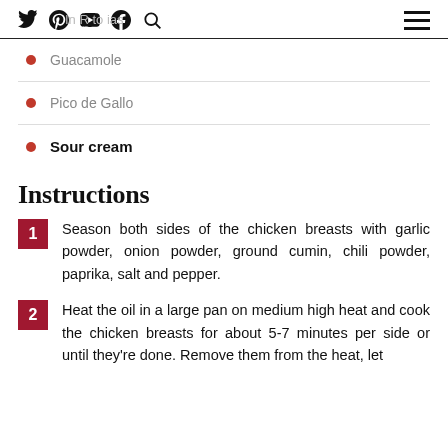Navigation header with social icons (Twitter, Pinterest, YouTube, Facebook, Search) and hamburger menu
Guacamole
Pico de Gallo
Sour cream
Instructions
1. Season both sides of the chicken breasts with garlic powder, onion powder, ground cumin, chili powder, paprika, salt and pepper.
2. Heat the oil in a large pan on medium high heat and cook the chicken breasts for about 5-7 minutes per side or until they're done. Remove them from the heat, let